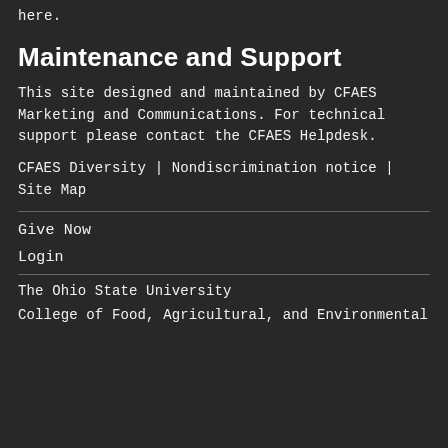here.
Maintenance and Support
This site designed and maintained by CFAES Marketing and Communications. For technical support please contact the CFAES Helpdesk.
CFAES Diversity  |  Nondiscrimination notice  |  Site Map
Give Now
Login
The Ohio State University
College of Food, Agricultural, and Environmental